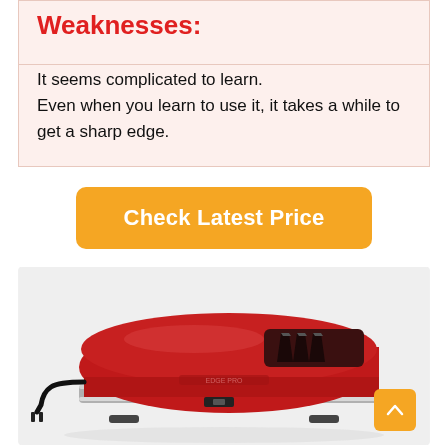Weaknesses:
It seems complicated to learn.
Even when you learn to use it, it takes a while to get a sharp edge.
[Figure (other): Orange button with white text reading 'Check Latest Price']
[Figure (photo): Red electric knife sharpener with three sharpening slots on top, power cord on left side, and chrome/silver base stripe. Placed on a light gray background with a faint reflection below.]